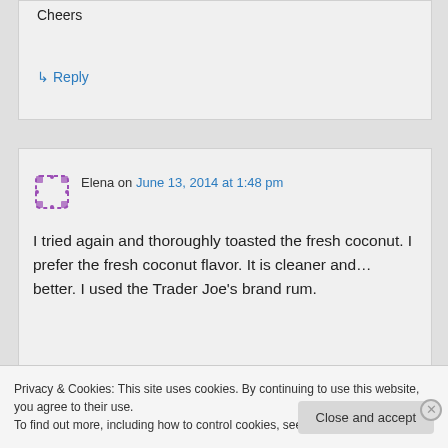Cheers
↳ Reply
Elena on June 13, 2014 at 1:48 pm
I tried again and thoroughly toasted the fresh coconut. I prefer the fresh coconut flavor. It is cleaner and… better. I used the Trader Joe's brand rum.
Privacy & Cookies: This site uses cookies. By continuing to use this website, you agree to their use.
To find out more, including how to control cookies, see here: Cookie Policy
Close and accept